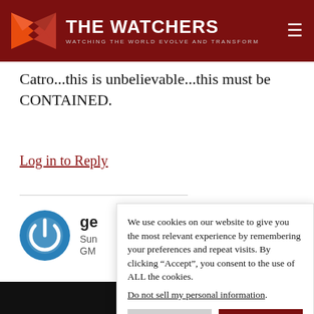THE WATCHERS — WATCHING THE WORLD EVOLVE AND TRANSFORM
Catro...this is unbelievable...this must be CONTAINED.
Log in to Reply
ge
Sun
GM
"global gov
THIS is the
We use cookies on our website to give you the most relevant experience by remembering your preferences and repeat visits. By clicking “Accept”, you consent to the use of ALL the cookies.
Do not sell my personal information.
HVO TA'U ISLAND YELLOW/ADV